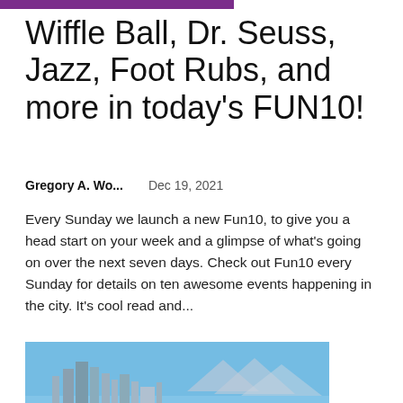Wiffle Ball, Dr. Seuss, Jazz, Foot Rubs, and more in today's FUN10!
Gregory A. Wo...    Dec 19, 2021
Every Sunday we launch a new Fun10, to give you a head start on your week and a glimpse of what's going on over the next seven days. Check out Fun10 every Sunday for details on ten awesome events happening in the city. It's cool read and...
[Figure (photo): Aerial photograph of Los Angeles showing a freeway interchange with the city skyline visible in the background under a clear blue sky.]